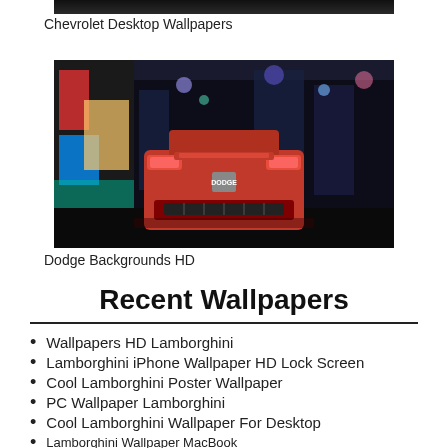[Figure (photo): Partial view of a dark car image at top of page (Chevrolet)]
Chevrolet Desktop Wallpapers
[Figure (photo): Red Dodge car viewed from rear, parked on a city street at night with colorful murals and bright lights in background]
Dodge Backgrounds HD
Recent Wallpapers
Wallpapers HD Lamborghini
Lamborghini iPhone Wallpaper HD Lock Screen
Cool Lamborghini Poster Wallpaper
PC Wallpaper Lamborghini
Cool Lamborghini Wallpaper For Desktop
Lamborghini Wallpaper MacBook
Lamborghini Cell Phone Wallpaper